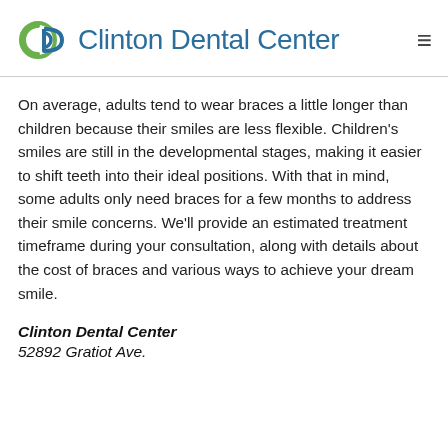Clinton Dental Center
On average, adults tend to wear braces a little longer than children because their smiles are less flexible. Children's smiles are still in the developmental stages, making it easier to shift teeth into their ideal positions. With that in mind, some adults only need braces for a few months to address their smile concerns. We'll provide an estimated treatment timeframe during your consultation, along with details about the cost of braces and various ways to achieve your dream smile.
Clinton Dental Center
52892 Gratiot Ave.